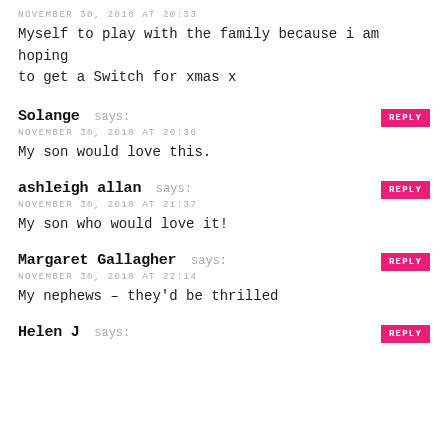NOVEMBER 30, 2018 AT 20:33
Myself to play with the family because i am hoping to get a Switch for xmas x
Solange says:
NOVEMBER 30, 2018 AT 20:36
My son would love this.
ashleigh allan says:
NOVEMBER 30, 2018 AT 21:37
My son who would love it!
Margaret Gallagher says:
NOVEMBER 30, 2018 AT 22:14
My nephews – they'd be thrilled
Helen J says: